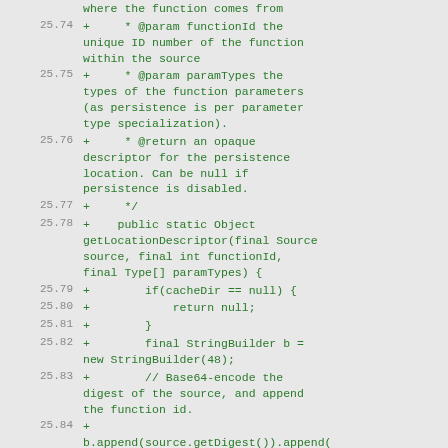where the function comes from
25.74 +      * @param functionId the unique ID number of the function within the source
25.75 +      * @param paramTypes the types of the function parameters (as persistence is per parameter type specialization).
25.76 +      * @return an opaque descriptor for the persistence location. Can be null if persistence is disabled.
25.77 +      */
25.78 +    public static Object getLocationDescriptor(final Source source, final int functionId, final Type[] paramTypes) {
25.79 +        if(cacheDir == null) {
25.80 +            return null;
25.81 +        }
25.82 +        final StringBuilder b = new StringBuilder(48);
25.83 +        // Base64-encode the digest of the source, and append the function id.
25.84 + b.append(source.getDigest()).append(').append(functionId);
25.85 +        // Finally, if this is a parameter-type specialized version